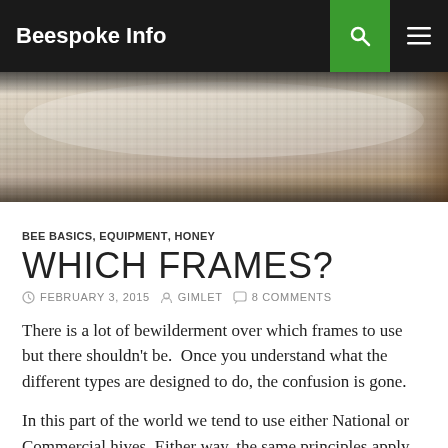Beespoke Info
[Figure (photo): Close-up photograph of a rolled or cylindrical piece of cream/beige woven canvas or burlap fabric, showing the texture of the weave. The roll is lit from above with shadows at top and bottom.]
BEE BASICS, EQUIPMENT, HONEY
WHICH FRAMES?
FEBRUARY 3, 2015   GIMLET   8 COMMENTS
There is a lot of bewilderment over which frames to use but there shouldn't be.  Once you understand what the different types are designed to do, the confusion is gone.
In this part of the world we tend to use either National or Commercial hives. Either way, the same principles apply – the only difference being the length of the lugs – that's the bit you